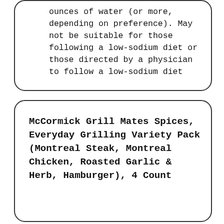ounces of water (or more, depending on preference). May not be suitable for those following a low-sodium diet or those directed by a physician to follow a low-sodium diet
McCormick Grill Mates Spices, Everyday Grilling Variety Pack (Montreal Steak, Montreal Chicken, Roasted Garlic & Herb, Hamburger), 4 Count